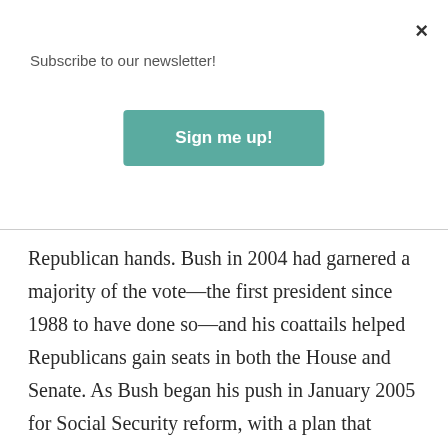×
Subscribe to our newsletter!
Sign me up!
Republican hands. Bush in 2004 had garnered a majority of the vote—the first president since 1988 to have done so—and his coattails helped Republicans gain seats in both the House and Senate. As Bush began his push in January 2005 for Social Security reform, with a plan that centered around voluntary personal investment accounts, the chances were good that progressives might suffer yet another defeat, and that the Republican...